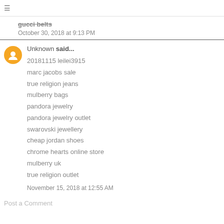≡
gucci belts
October 30, 2018 at 9:13 PM
Unknown said...
20181115 leilei3915
marc jacobs sale
true religion jeans
mulberry bags
pandora jewelry
pandora jewelry outlet
swarovski jewellery
cheap jordan shoes
chrome hearts online store
mulberry uk
true religion outlet
November 15, 2018 at 12:55 AM
Post a Comment